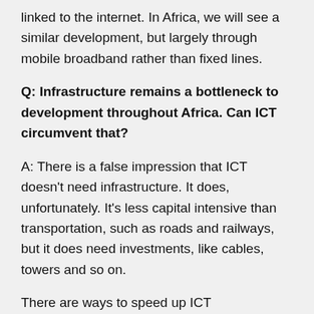linked to the internet. In Africa, we will see a similar development, but largely through mobile broadband rather than fixed lines.
Q: Infrastructure remains a bottleneck to development throughout Africa. Can ICT circumvent that?
A: There is a false impression that ICT doesn't need infrastructure. It does, unfortunately. It's less capital intensive than transportation, such as roads and railways, but it does need investments, like cables, towers and so on.
There are ways to speed up ICT development, for example by governments obliging operators to share expensive infrastructure and thereby ensuring that they don't duplicate investments. For instance, you can reduce costs by incentivising infrastructure-sharing models without preventing competition.